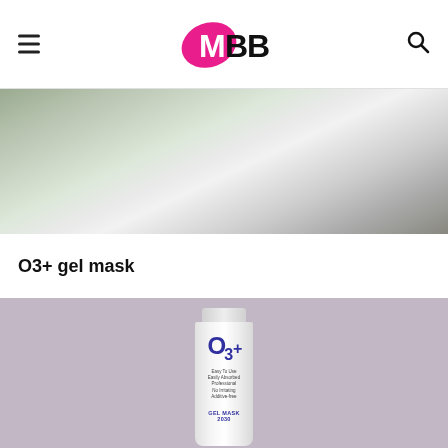IMBB
[Figure (photo): Close-up photo of a shiny reflective surface, blurred background with light tones, appears to be a beauty product packaging reflection]
O3+ gel mask
[Figure (photo): Photo of an O3+ gel mask tube product on a mauve/lilac background. The white tube shows the O3+ branding in blue, with text reading Easy To Use, Easily Absorbed, Professional, No Irritating, Additive-free, GEL MASK 2030]